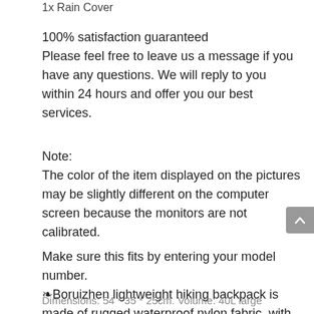1x Rain Cover
100% satisfaction guaranteed
Please feel free to leave us a message if you have any questions. We will reply to you within 24 hours and offer you our best services.
Note:
The color of the item displayed on the pictures may be slightly different on the computer screen because the monitors are not calibrated.
Make sure this fits by entering your model number.
❧Boruizhen lightweight hiking backpack is made of rugged waterproof nylon fabric, with rain cover.
Dimensions: 54 * 35 * 25cm. Volume: 40L large